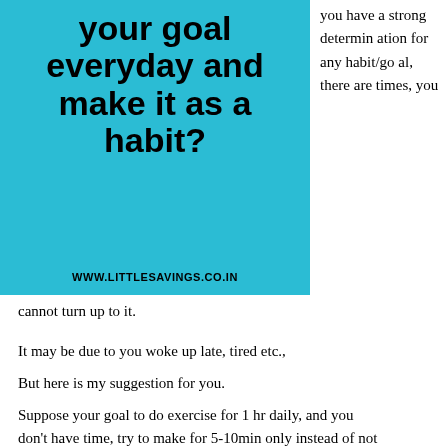your goal everyday and make it as a habit?
WWW.LITTLESAVINGS.CO.IN
you have a strong determination for any habit/goal, there are times, you cannot turn up to it.
It may be due to you woke up late, tired etc.,
But here is my suggestion for you.
Suppose your goal to do exercise for 1 hr daily, and you don't have time, try to make for 5-10min only instead of not doing at all.